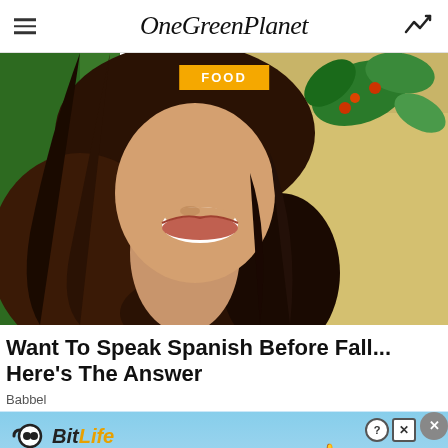OneGreenPlanet
[Figure (photo): Hero image: smiling woman with long wavy dark hair, green background on left, decorative floral pattern on right. Yellow FOOD badge overlay at top center.]
Want To Speak Spanish Before Fall... Here's The Answer
Babbel
[Figure (infographic): BitLife advertisement banner: light blue background with BitLife logo, text 'NOW WITH GOD MODE', cartoon hand pointing, second cartoon hand, close button with X, question and X icons in top right.]